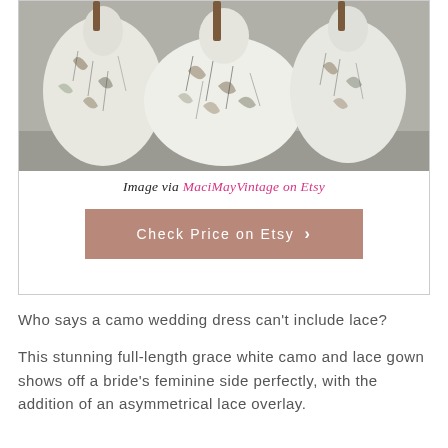[Figure (photo): Three camo wedding dresses displayed on hangers or mannequins, featuring a white camouflage pattern with branches, displayed side by side in a room.]
Image via MaciMayVintage on Etsy
[Figure (other): Button/CTA: Check Price on Etsy with right arrow, pink-brown background]
Who says a camo wedding dress can't include lace?
This stunning full-length grace white camo and lace gown shows off a bride's feminine side perfectly, with the addition of an asymmetrical lace overlay.